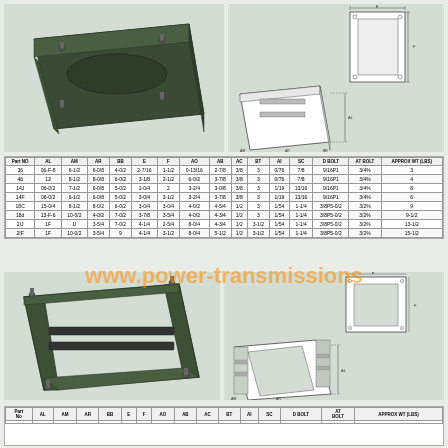[Figure (photo): 3D photo of a dark green rectangular metal mounting base/plate with bolts/studs on top surface]
[Figure (engineering-diagram): Technical engineering drawing showing top view and side/perspective view of mounting base with dimension lines and labels]
| Part NO | AL | AM | AR | BB | E | F | AO | AB | AC | BT | AI | SC | D BOLT | AT BOLT | APPROX WT (LBS) |
| --- | --- | --- | --- | --- | --- | --- | --- | --- | --- | --- | --- | --- | --- | --- | --- |
| 36 | 06-F-8 | 6-1/2 | 6-0/8 | 4-0/2 | 2-7/16 | 1-1/2 | 0-13/16 | 2-7/8 | 3/8 | 3 | 0/76 | 7/8 | 9/16P1 | 3/4% | 3 |
| 46 | 12 | 8-1/2 | 8-0/8 | 6-0/2 | 3-1/8 | 2-1/2 | 6-0/2 | 3-7/8 | 3/8 | 3 | 0/76 | 7/8 | 9/16P1 | 3/4% | 4 |
| 14J | 06-0/2 | 7-1/2 | 6-0/8 | 5-0/2 | 2-0/4 | 2 | 3-2/4 | 3-0/8 | 3/8 | 3 | 1/19 | 13/16 | 9/16P1 | 3/4% | 8 |
| 14F | 06-0/2 | 6-1/2 | 6-0/8 | 5-0/2 | 3-0/4 | 3-1/2 | 3-2/4 | 3-7/8 | 3/8 | 3 | 1/19 | 13/16 | 9/16P1 | 3/4% | 6 |
| 18C | 15-0/4 | 8-1/2 | 8-0/2 | 6-0/2 | 3-0/4 | 3-0/4 | 4-0/2 | 4-5/4 | 1/2 | 3 | 1/54 | 1-1/4 | 3/8P5-0/2 | 3/2% | 9 |
| 18d | 13-F-6 | 10-0/2 | 4-0/2 | 7-0/2 | 3-7/8 | 3-5/4 | 4-0/2 | 4-3/4 | 1/2 | 3 | 1/54 | 1-1/4 | 3/8P5-0/2 | 3/2% | 9-1/2 |
| 2IJ | 1F | 1I | 3-5/4 | 7-0/2 | 4-1/4 | 2-5/4 | 8-0/4 | 4-3/4 | 1/2 | 3-1/2 | 1/54 | 1-1/4 | 3/8P5-0/2 | 3/2% | 13-1/2 |
| 2IF | 1F | 10-0/2 | 3-5/4 | 9 | 4-1/4 | 3-1/2 | 8-0/4 | 5-1/2 | 1/2 | 3-1/2 | 1/54 | 1-1/4 | 3/8P5-0/2 | 3/2% | 15-1/2 |
www.power-transmissions
[Figure (photo): 3D photo of a dark green open rectangular frame-style motor base/slide rail with adjustable bolts]
[Figure (engineering-diagram): Technical engineering drawing showing top view and side/perspective view of open frame motor base with dimension lines and labels]
| Part No | AL | AM | AR | BB | E | F | AO | AB | AC | BT | AI | SC | D BOLT | AT BOLT | APPROX WT (LBS) |
| --- | --- | --- | --- | --- | --- | --- | --- | --- | --- | --- | --- | --- | --- | --- | --- |
| (partial - cut off at bottom) |  |  |  |  |  |  |  |  |  |  |  |  |  |  |  |